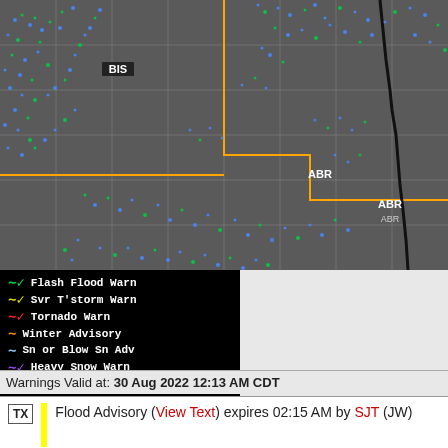[Figure (map): Weather radar map showing precipitation (blue and green dots) over North Dakota and South Dakota region. Location labels BIS (Bismarck) and ABR (Aberdeen) visible. Orange boundary lines show NWS forecast zones. Black thick line shows Missouri River or state boundary. Radar returns shown in blue and green indicating precipitation.]
[Figure (infographic): Weather warning legend on black background listing: Flash Flood Warn (green wave), Svr T'storm Warn (yellow wave), Tornado Warn (red wave), Winter Advisory (orange wave), Sn or Blow Sn Adv (light blue wave), Heavy Snow Warn (purple wave), Winter Storm Warn (pink/magenta wave), Ice/Frz/Sleet Warn (hot pink wave), Blizzard Warn (red wave)]
Warnings Valid at: 30 Aug 2022 12:13 AM CDT
TX  Flood Advisory (View Text) expires 02:15 AM by SJT (JW)